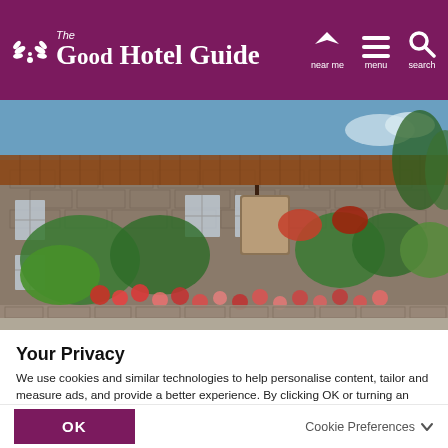The Good Hotel Guide — near me | menu | search
[Figure (photo): Exterior of a traditional English stone country inn/hotel covered in flowering plants and climbing vines, with a painted inn sign, terracotta roof, and a well-tended garden border of red and pink geraniums.]
Your Privacy
We use cookies and similar technologies to help personalise content, tailor and measure ads, and provide a better experience. By clicking OK or turning an option on in Cookie Preferences, you agree to this, as outlined in our Cookie Policy. To change preferences or withdraw consent, please update your Cookie Preferences.
OK
Cookie Preferences